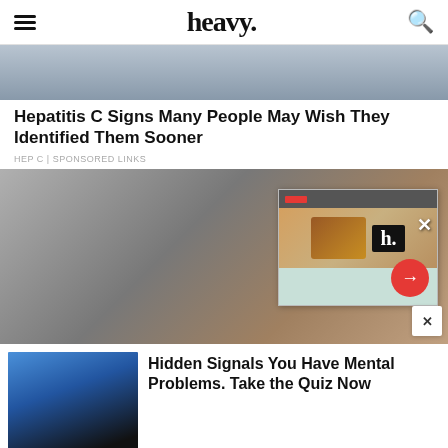heavy.
[Figure (photo): Partial view of a person or scene, cropped at top of page]
Hepatitis C Signs Many People May Wish They Identified Them Sooner
HEP C | SPONSORED LINKS
[Figure (photo): Close-up of a woman's face with closed eyes and a glossy face mask treatment, with an overlaid advertisement popup showing holiday gifts and the heavy.com logo and a red arrow button]
[Figure (photo): Thumbnail image of a person in a blue-lit room]
Hidden Signals You Have Mental Problems. Take the Quiz Now